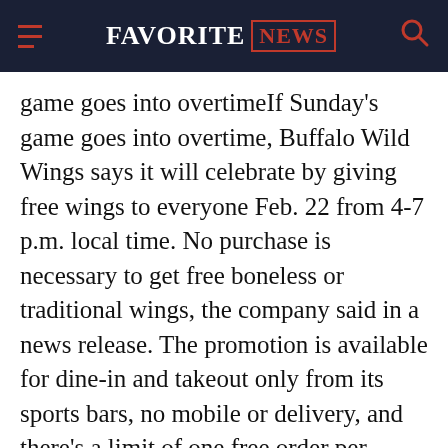FAVORITE NEWS
game goes into overtimeIf Sunday's game goes into overtime, Buffalo Wild Wings says it will celebrate by giving free wings to everyone Feb. 22 from 4-7 p.m. local time. No purchase is necessary to get free boneless or traditional wings, the company said in a news release. The promotion is available for dine-in and takeout only from its sports bars, no mobile or delivery, and there's a limit of one free order per customer. While supplies last. FREE WINGS!If Kansas City-Tampa Bay goes to overtime, everyone in America gets wings.— Buffalo Wild Wings (@BWWings) January 25, 2021Super Bowl deals: Subs, bundles, moreBJ's Restaurants & Brewhouse: Get a Brewhouse Homegating Pack for $64.95 with